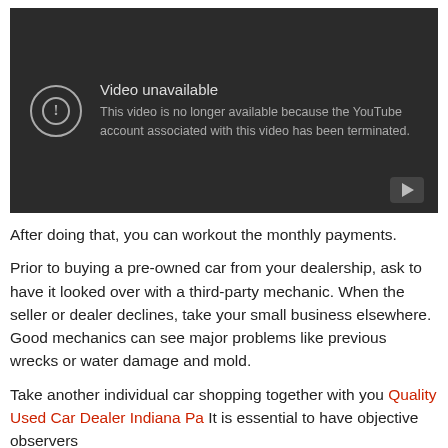[Figure (screenshot): YouTube video unavailable error screen. Dark background with circular exclamation icon. Text reads: 'Video unavailable – This video is no longer available because the YouTube account associated with this video has been terminated.' Play button icon in bottom right corner.]
After doing that, you can workout the monthly payments.
Prior to buying a pre-owned car from your dealership, ask to have it looked over with a third-party mechanic. When the seller or dealer declines, take your small business elsewhere. Good mechanics can see major problems like previous wrecks or water damage and mold.
Take another individual car shopping together with you Quality Used Car Dealer Indiana Pa It is essential to have objective observers